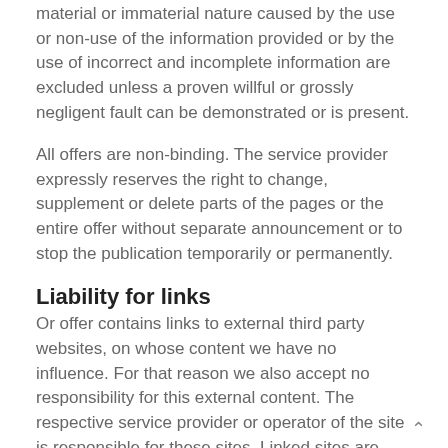material or immaterial nature caused by the use or non-use of the information provided or by the use of incorrect and incomplete information are excluded unless a proven willful or grossly negligent fault can be demonstrated or is present.
All offers are non-binding. The service provider expressly reserves the right to change, supplement or delete parts of the pages or the entire offer without separate announcement or to stop the publication temporarily or permanently.
Liability for links
Or offer contains links to external third party websites, on whose content we have no influence. For that reason we also accept no responsibility for this external content. The respective service provider or operator of the site is responsible for these sites. Linked sites are checked at the point the link is made for any possible legal infringements. Unlawful contents were not